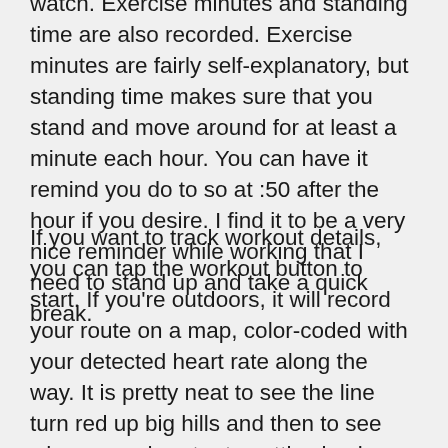watch. Exercise minutes and standing time are also recorded. Exercise minutes are fairly self-explanatory, but standing time makes sure that you stand and move around for at least a minute each hour. You can have it remind you do to so at :50 after the hour if you desire. I find it to be a very nice reminder while working that I need to stand up and take a quick break.
If you want to track workout details, you can tap the workout button to start. If you're outdoors, it will record your route on a map, color-coded with your detected heart rate along the way. It is pretty neat to see the line turn red up big hills and then to see where your heart rate settles back down along easier sections of a trail. The Series 2 watch has a built-in GPS, so if you want to go running or walking without your phone, this feature will still work. It is also more waterproof than the first series, so you can swim with it and